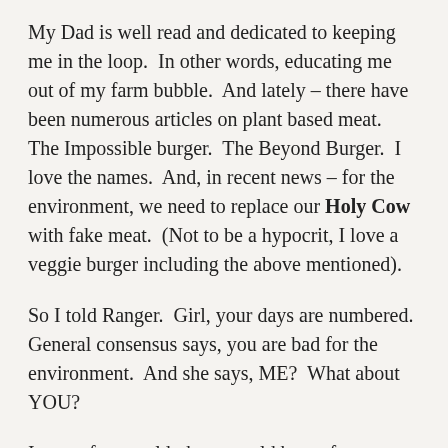My Dad is well read and dedicated to keeping me in the loop.  In other words, educating me out of my farm bubble.  And lately – there have been numerous articles on plant based meat.  The Impossible burger.  The Beyond Burger.  I love the names.  And, in recent news – for the environment, we need to replace our Holy Cow with fake meat.  (Not to be a hypocrit, I love a veggie burger including the above mentioned).
So I told Ranger.  Girl, your days are numbered.  General consensus says, you are bad for the environment.  And she says, ME?  What about YOU?
In a perfect world, there would be no fences.  Our grasslands in the midwest are full of amazing topsoil as a result of grazing herds of Bison.  But instead – we thought it was a great idea to fence our lands and plant corn.  And then cram thousands of animals into